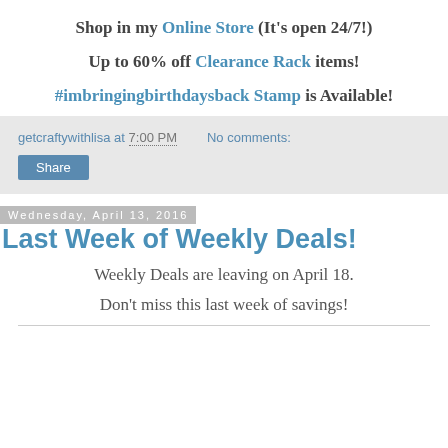Shop in my Online Store (It's open 24/7!)
Up to 60% off Clearance Rack items!
#imbringingbirthdaysback Stamp is Available!
getcraftywithlisa at 7:00 PM   No comments:
Share
Wednesday, April 13, 2016
Last Week of Weekly Deals!
Weekly Deals are leaving on April 18.
Don't miss this last week of savings!